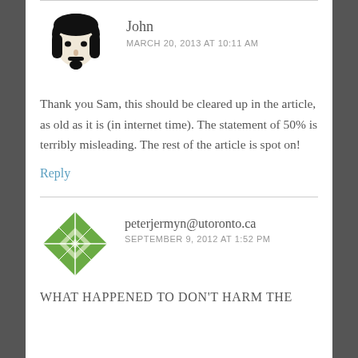[Figure (illustration): Avatar image of John — black and white illustration of a man with dark hair and goatee beard]
John
MARCH 20, 2013 AT 10:11 AM
Thank you Sam, this should be cleared up in the article, as old as it is (in internet time). The statement of 50% is terribly misleading. The rest of the article is spot on!
Reply
[Figure (illustration): Avatar image of peterjermyn@utoronto.ca — green geometric quilted diamond pattern icon]
peterjermyn@utoronto.ca
SEPTEMBER 9, 2012 AT 1:52 PM
WHAT HAPPENED TO DON'T HARM THE